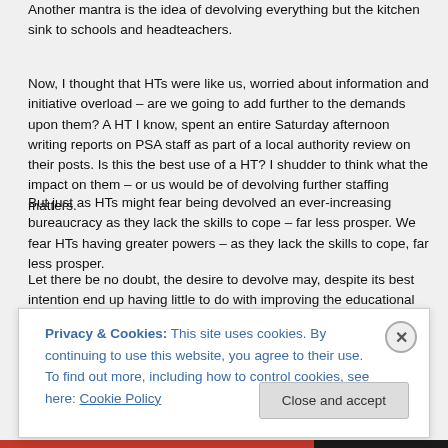Another mantra is the idea of devolving everything but the kitchen sink to schools and headteachers.
Now, I thought that HTs were like us, worried about information and initiative overload – are we going to add further to the demands upon them? A HT I know, spent an entire Saturday afternoon writing reports on PSA staff as part of a local authority review on their posts. Is this the best use of a HT? I shudder to think what the impact on them – or us would be of devolving further staffing matters.
But just as HTs might fear being devolved an ever-increasing bureaucracy as they lack the skills to cope – far less prosper. We fear HTs having greater powers – as they lack the skills to cope, far less prosper.
Let there be no doubt, the desire to devolve may, despite its best intention end up having little to do with improving the educational outcomes for schools or the pupils they serve. It may even be used to attack collective bargaining.
For councils, it's efficiency: making more out of staff for less. Or simply, to have less staff.
Privacy & Cookies: This site uses cookies. By continuing to use this website, you agree to their use.
To find out more, including how to control cookies, see here: Cookie Policy
Close and accept